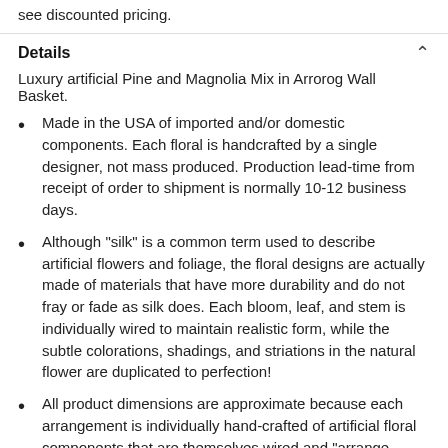see discounted pricing.
Details
Luxury artificial Pine and Magnolia Mix in Arrorog Wall Basket.
Made in the USA of imported and/or domestic components. Each floral is handcrafted by a single designer, not mass produced. Production lead-time from receipt of order to shipment is normally 10-12 business days.
Although "silk" is a common term used to describe artificial flowers and foliage, the floral designs are actually made of materials that have more durability and do not fray or fade as silk does. Each bloom, leaf, and stem is individually wired to maintain realistic form, while the subtle colorations, shadings, and striations in the natural flower are duplicated to perfection!
All product dimensions are approximate because each arrangement is individually hand-crafted of artificial floral components that are themselves wired and "arrange-able". So each is truly one of a kind, a